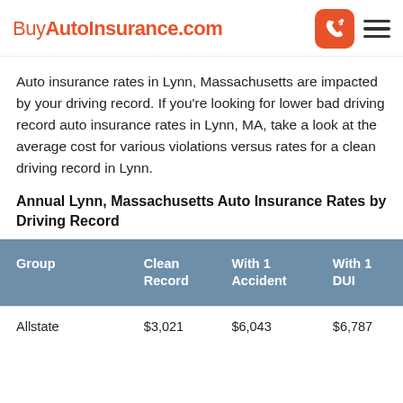BuyAutoInsurance.com
Auto insurance rates in Lynn, Massachusetts are impacted by your driving record. If you're looking for lower bad driving record auto insurance rates in Lynn, MA, take a look at the average cost for various violations versus rates for a clean driving record in Lynn.
Annual Lynn, Massachusetts Auto Insurance Rates by Driving Record
| Group | Clean Record | With 1 Accident | With 1 DUI |
| --- | --- | --- | --- |
| Allstate | $3,021 | $6,043 | $6,787 |